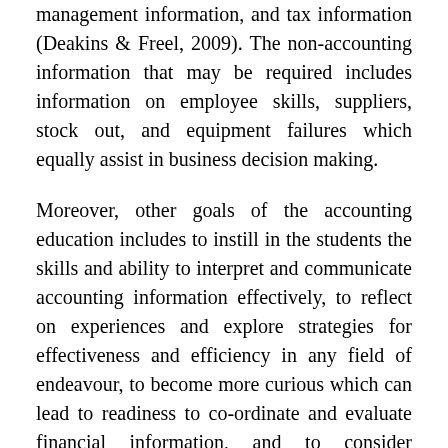management information, and tax information (Deakins & Freel, 2009). The non-accounting information that may be required includes information on employee skills, suppliers, stock out, and equipment failures which equally assist in business decision making.
Moreover, other goals of the accounting education includes to instill in the students the skills and ability to interpret and communicate accounting information effectively, to reflect on experiences and explore strategies for effectiveness and efficiency in any field of endeavour, to become more curious which can lead to readiness to co-ordinate and evaluate financial information, and to consider adequate employment as an accountant as a viable option upon graduation from their institutions (Ulrich & Cole, 2007).